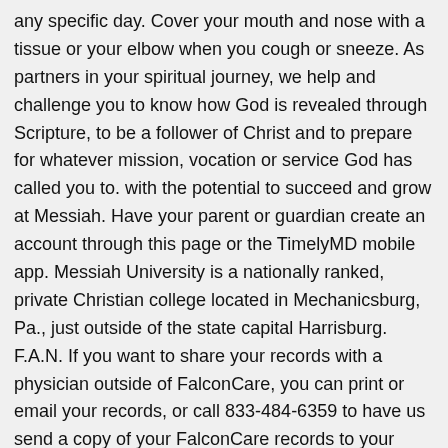any specific day. Cover your mouth and nose with a tissue or your elbow when you cough or sneeze. As partners in your spiritual journey, we help and challenge you to know how God is revealed through Scripture, to be a follower of Christ and to prepare for whatever mission, vocation or service God has called you to. with the potential to succeed and grow at Messiah. Have your parent or guardian create an account through this page or the TimelyMD mobile app. Messiah University is a nationally ranked, private Christian college located in Mechanicsburg, Pa., just outside of the state capital Harrisburg. F.A.N. If you want to share your records with a physician outside of FalconCare, you can print or email your records, or call 833-484-6359 to have us send a copy of your FalconCare records to your provider. How can I get my prescription filled? In addition, this file provides data mined from more than 500 "priority" coverage journals as well as 1,040 "selective" coverage journals. 181 likes. You can make more than one referral; however each referral must be filled out separately. TimelyMD is an independent company that provides virtual visits for Messiah University students. Will my prescription be covered by my insurance